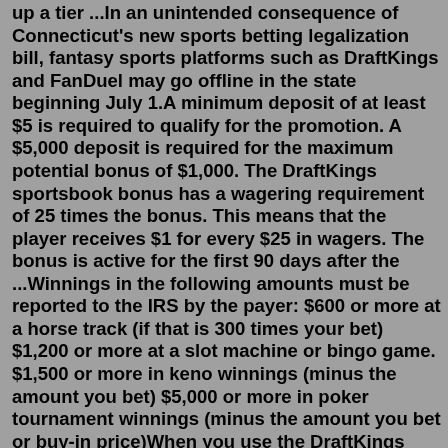up a tier ...In an unintended consequence of Connecticut's new sports betting legalization bill, fantasy sports platforms such as DraftKings and FanDuel may go offline in the state beginning July 1.A minimum deposit of at least $5 is required to qualify for the promotion. A $5,000 deposit is required for the maximum potential bonus of $1,000. The DraftKings sportsbook bonus has a wagering requirement of 25 times the bonus. This means that the player receives $1 for every $25 in wagers. The bonus is active for the first 90 days after the ...Winnings in the following amounts must be reported to the IRS by the payer: $600 or more at a horse track (if that is 300 times your bet) $1,200 or more at a slot machine or bingo game. $1,500 or more in keno winnings (minus the amount you bet) $5,000 or more in poker tournament winnings (minus the amount you bet or buy-in price)When you use the DraftKings March Madness Promo Code, you get both a $50 free bet and a 20% deposit match bonus up to $1,000. So click here and this link for